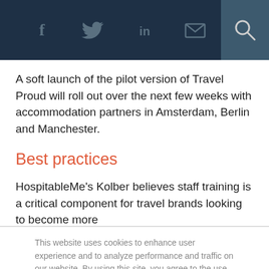[Social share icons: Facebook, Twitter, LinkedIn, Email, Search]
A soft launch of the pilot version of Travel Proud will roll out over the next few weeks with accommodation partners in Amsterdam, Berlin and Manchester.
Best practices
HospitableMe's Kolber believes staff training is a critical component for travel brands looking to become more
This website uses cookies to enhance user experience and to analyze performance and traffic on our website. By using this site, you agree to the use of cookies. You may change your cookie settings at any time, but the site may not function properly.  Cookie Policy
Close